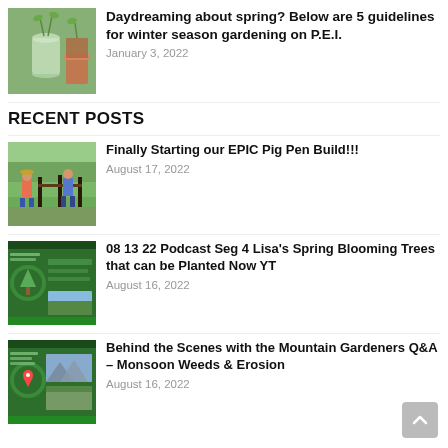[Figure (photo): Photo of plant seedlings in a glass jar and terracotta pots]
Daydreaming about spring? Below are 5 guidelines for winter season gardening on P.E.I.
January 3, 2022
RECENT POSTS
[Figure (photo): Photo of two people building a pig pen fence outdoors]
Finally Starting our EPIC Pig Pen Build!!!
August 17, 2022
[Figure (screenshot): Green thumbnail image with text about spring blooming trees]
08 13 22 Podcast Seg 4 Lisa's Spring Blooming Trees that can be Planted Now YT
August 16, 2022
[Figure (screenshot): Green thumbnail image about mountain gardeners with monsoon weeds and erosion]
Behind the Scenes with the Mountain Gardeners Q&A – Monsoon Weeds & Erosion
August 16, 2022